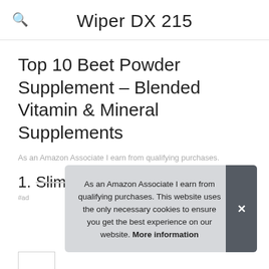Wiper DX 215
Top 10 Beet Powder Supplement – Blended Vitamin & Mineral Supplements
As an Amazon Associate I earn from qualifying purchases.
1. SlimFast
As an Amazon Associate I earn from qualifying purchases. This website uses the only necessary cookies to ensure you get the best experience on our website. More information